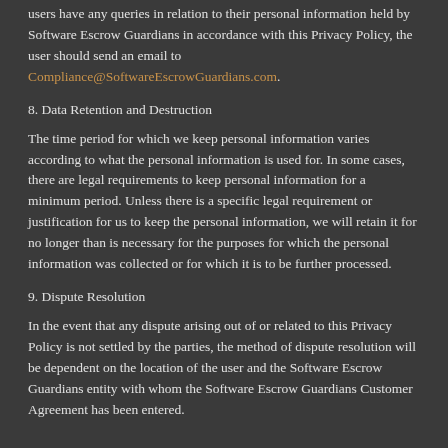users have any queries in relation to their personal information held by Software Escrow Guardians in accordance with this Privacy Policy, the user should send an email to Compliance@SoftwareEscrowGuardians.com.
8. Data Retention and Destruction
The time period for which we keep personal information varies according to what the personal information is used for. In some cases, there are legal requirements to keep personal information for a minimum period. Unless there is a specific legal requirement or justification for us to keep the personal information, we will retain it for no longer than is necessary for the purposes for which the personal information was collected or for which it is to be further processed.
9. Dispute Resolution
In the event that any dispute arising out of or related to this Privacy Policy is not settled by the parties, the method of dispute resolution will be dependent on the location of the user and the Software Escrow Guardians entity with whom the Software Escrow Guardians Customer Agreement has been entered.